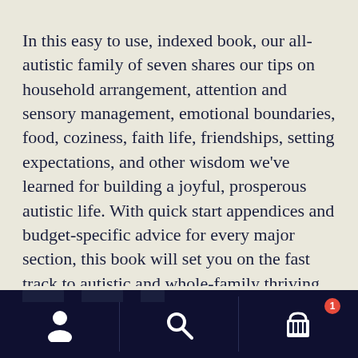In this easy to use, indexed book, our all-autistic family of seven shares our tips on household arrangement, attention and sensory management, emotional boundaries, food, coziness, faith life, friendships, setting expectations, and other wisdom we've learned for building a joyful, prosperous autistic life. With quick start appendices and budget-specific advice for every major section, this book will set you on the fast track to autistic and whole-family thriving.
[Figure (screenshot): Mobile app navigation bar with three icons: user/profile icon on the left, search magnifying glass icon in the center, and shopping cart icon with badge showing '1' on the right. Dark navy background.]